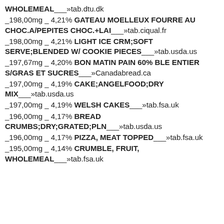WHOLEMEAL___»tab.dtu.dk
_198,00mg _ 4,21% GATEAU MOELLEUX FOURRE AU CHOC.A/PEPITES CHOC.+LAI___»tab.ciqual.fr
_198,00mg _ 4,21% LIGHT ICE CRM;SOFT SERVE;BLENDED W/ COOKIE PIECES___»tab.usda.us
_197,67mg _ 4,20% BON MATIN PAIN 60% BLE ENTIER S/GRAS ET SUCRES___»Canadabread.ca
_197,00mg _ 4,19% CAKE;ANGELFOOD;DRY MIX___»tab.usda.us
_197,00mg _ 4,19% WELSH CAKES___»tab.fsa.uk
_196,00mg _ 4,17% BREAD CRUMBS;DRY;GRATED;PLN___»tab.usda.us
_196,00mg _ 4,17% PIZZA, MEAT TOPPED___»tab.fsa.uk
_195,00mg _ 4,14% CRUMBLE, FRUIT, WHOLEMEAL___»tab.fsa.uk